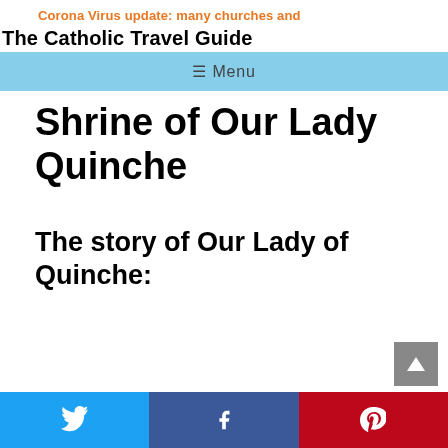Corona Virus update: many churches and
The Catholic Travel Guide
≡ Menu
Shrine of Our Lady Quinche
The story of Our Lady of Quinche: